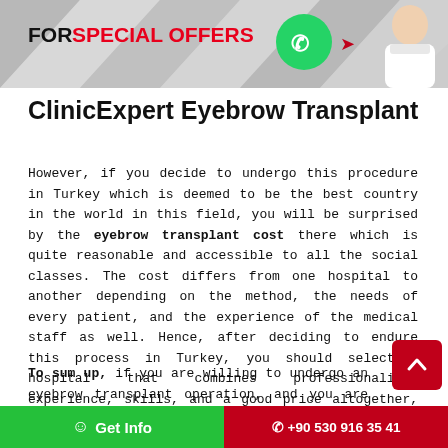[Figure (photo): Banner with 'FOR SPECIAL OFFERS' text in black and red, WhatsApp green circle icon, and a doctor figure on the right against a geometric grey background]
ClinicExpert Eyebrow Transplant
However, if you decide to undergo this procedure in Turkey which is deemed to be the best country in the world in this field, you will be surprised by the eyebrow transplant cost there which is quite reasonable and accessible to all the social classes. The cost differs from one hospital to another depending on the method, the needs of every patient, and the experience of the medical staff as well. Hence, after deciding to endure this process in Turkey, you should select a hospital that combines professionalism, experience, skills, and a good price altogether, which is the case in-clinic expert hospital in Istanbul.
To sum up, if you are willing to undergo an eyebrow transplant operation, and you are looking for the best place in terms of experience, professionalism, skills, and pricing, be...
Get Info   +90 530 916 35 41